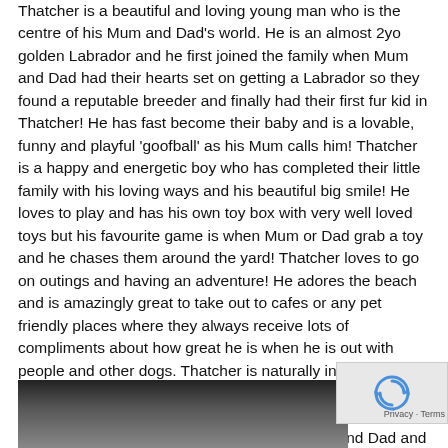Thatcher is a beautiful and loving young man who is the centre of his Mum and Dad's world. He is an almost 2yo golden Labrador and he first joined the family when Mum and Dad had their hearts set on getting a Labrador so they found a reputable breeder and finally had their first fur kid in Thatcher! He has fast become their baby and is a lovable, funny and playful 'goofball' as his Mum calls him! Thatcher is a happy and energetic boy who has completed their little family with his loving ways and his beautiful big smile! He loves to play and has his own toy box with very well loved toys but his favourite game is when Mum or Dad grab a toy and he chases them around the yard! Thatcher loves to go on outings and having an adventure! He adores the beach and is amazingly great to take out to cafes or any pet friendly places where they always receive lots of compliments about how great he is when he is out with people and other dogs. Thatcher is naturally inquisitive and will often sniff the ground to see what he can check out and he also has several tricks that he learnt at dog school. This young man loves lots of cuddles with his Mum and Dad and has his own special smile which he only does when they come home from work! Mum and Dad adore the big smiles and unconditional love which come with gorgeous Thatcher.
[Figure (photo): Bottom portion of a photo of a dark-colored dog (Thatcher) on a black background, partially visible at the bottom of the page.]